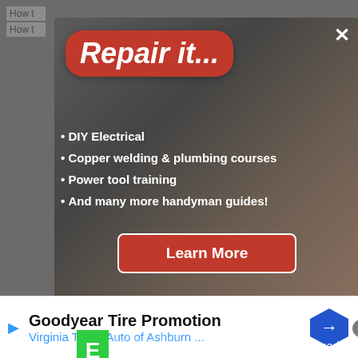[Figure (screenshot): Ad modal overlay for 'Repair it...' DIY course with red bubble title, bullet points listing DIY Electrical, Copper welding & plumbing courses, Power tool training, And many more handyman guides!, and a red Learn More button. Background shows electrical work photo.]
[Figure (screenshot): Second video ad modal showing 'Build it' with Arduino theme. Error message: 'No compatible source was found for this media.' Shows 'What is Arduino X' text with Arduino infinity logo. Green E icon top left.]
[Figure (screenshot): Bottom banner ad for Goodyear Tire Promotion - Virginia Tire & Auto of Ashburn ... with blue hexagonal direction sign icon on right.]